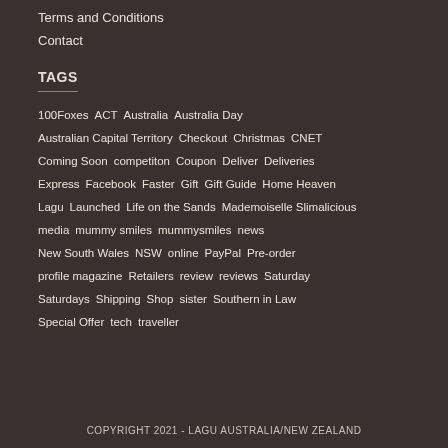Terms and Conditions
Contact
TAGS
100Foxes  ACT  Australia  Australia Day  Australian Capital Territory  Checkout  Christmas  CNET  Coming Soon  competiton  Coupon  Deliver  Deliveries  Express  Facebook  Faster  Gift  Gift Guide  Home Heaven  Lagu  Launched  Life on the Sands  Mademoiselle Slimalicious  media  mummy smiles  mummysmiles  news  New South Wales  NSW  online  PayPal  Pre-order  profile magazine  Retailers  review  reviews  Saturday  Saturdays  Shipping  Shop  sister  Southern in Law  Special Offer  tech  traveller
COPYRIGHT 2021 - LAGU AUSTRALIA/NEW ZEALAND